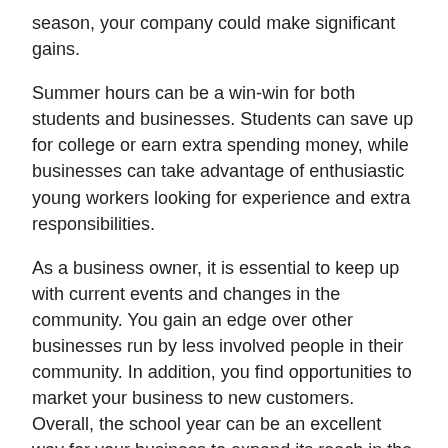season, your company could make significant gains.
Summer hours can be a win-win for both students and businesses. Students can save up for college or earn extra spending money, while businesses can take advantage of enthusiastic young workers looking for experience and extra responsibilities.
As a business owner, it is essential to keep up with current events and changes in the community. You gain an edge over other businesses run by less involved people in their community. In addition, you find opportunities to market your business to new customers. Overall, the school year can be an excellent way for your business to expand its reach in the community. Here is how:
4 Ways Your Small Business Can Benefit Throughout the School Year
There is no reason to feel like you are losing out this